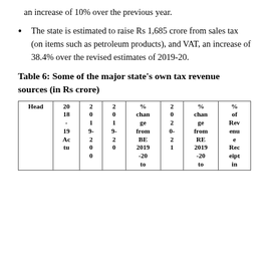an increase of 10% over the previous year.
The state is estimated to raise Rs 1,685 crore from sales tax (on items such as petroleum products), and VAT, an increase of 38.4% over the revised estimates of 2019-20.
Table 6: Some of the major state's own tax revenue sources (in Rs crore)
| Head | 2018-19 Actu | 2019-20 BE | 2019-2020 | % change from BE 2019-20 to | 2020-21 RE | % change from RE 2019-20 to | % of Revenue Receipt in |
| --- | --- | --- | --- | --- | --- | --- | --- |